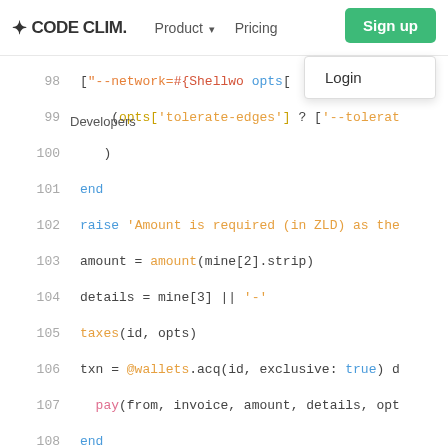CODE CLIM. | Product | Pricing | Sign up | Login | Developers
[Figure (screenshot): Code Climate website screenshot showing Ruby code with syntax highlighting, lines 98-114, with navigation bar including Product, Pricing, Sign up button, and Login dropdown visible]
98   ["--network=#{Shellwo opts[\n99     (opts['tolerate-edges'] ? ['--tolerat\n100    )\n101    end\n102    raise 'Amount is required (in ZLD) as the\n103    amount = amount(mine[2].strip)\n104    details = mine[3] || '-'\n105    taxes(id, opts)\n106    txn = @wallets.acq(id, exclusive: true) d\n107      pay(from, invoice, amount, details, opt\n108    end\n109    return if opts['skip-propagate']\n110    require_relative 'propagate'\n111    Propagate.new(wallets: @wallets, log: @lo\n112    txn\n113  end\n114